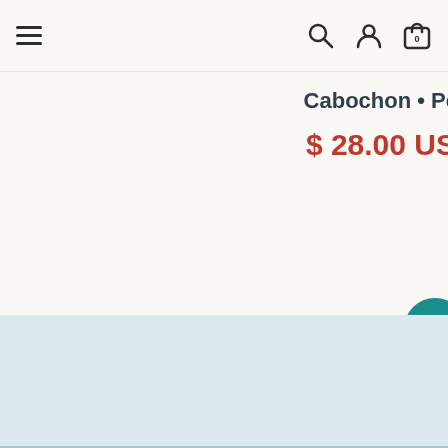Navigation bar with hamburger menu, search, account, and cart icons
Cabochon • Pe
$ 28.00 US
[Figure (other): Teal circular button with white star icon]
Get updates
Email address
[Figure (other): USD currency selector dropdown button]
[Figure (other): White pill-shaped chat widget with dark blue circle icon containing a gift/product icon]